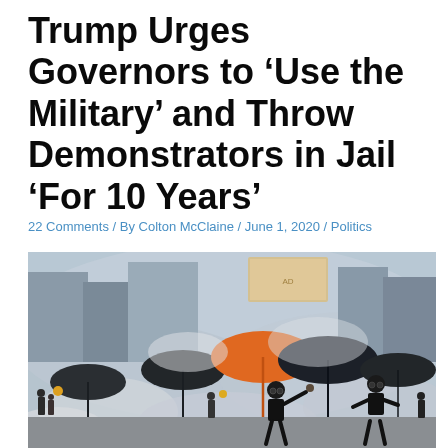Trump Urges Governors to ‘Use the Military’ and Throw Demonstrators in Jail ‘For 10 Years’
22 Comments / By Colton McClaine / June 1, 2020 / Politics
[Figure (photo): Protesters in a street scene with smoke, umbrellas (orange and black), people in black clothing with gas masks, throwing objects amid tear gas or smoke.]